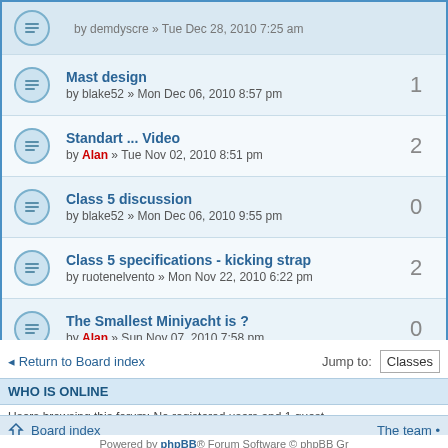by demdyscre » Tue Dec 28, 2010 7:25 am
Mast design
by blake52 » Mon Dec 06, 2010 8:57 pm
Replies: 1
Standart ... Video
by Alan » Tue Nov 02, 2010 8:51 pm
Replies: 2
Class 5 discussion
by blake52 » Mon Dec 06, 2010 9:55 pm
Replies: 0
Class 5 specifications - kicking strap
by ruotenelvento » Mon Nov 22, 2010 6:22 pm
Replies: 2
The Smallest Miniyacht is ?
by Alan » Sun Nov 07, 2010 7:58 pm
Replies: 0
SPKA
by Tom SCO19 » Fri Oct 29, 2010 6:52 am
Replies: 10
Return to Board index
Jump to: Classes
WHO IS ONLINE
Users browsing this forum: No registered users and 1 guest
Board index
The team •
Powered by phpBB® Forum Software © phpBB Gr